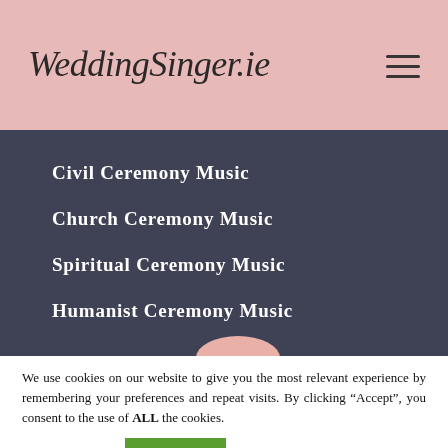WeddingSinger.ie
Civil Ceremony Music
Church Ceremony Music
Spiritual Ceremony Music
Humanist Ceremony Music
We use cookies on our website to give you the most relevant experience by remembering your preferences and repeat visits. By clicking “Accept”, you consent to the use of ALL the cookies.
Cookie settings   ACCEPT